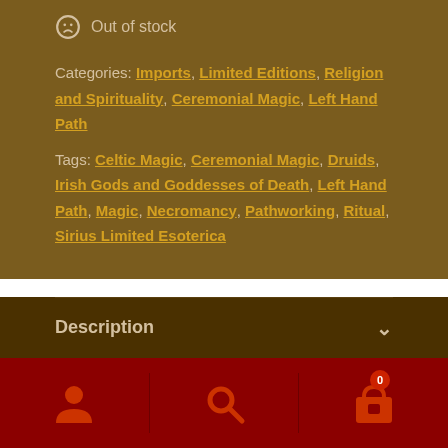Out of stock
Categories: Imports, Limited Editions, Religion and Spirituality, Ceremonial Magic, Left Hand Path
Tags: Celtic Magic, Ceremonial Magic, Druids, Irish Gods and Goddesses of Death, Left Hand Path, Magic, Necromancy, Pathworking, Ritual, Sirius Limited Esoterica
Description
Additional information